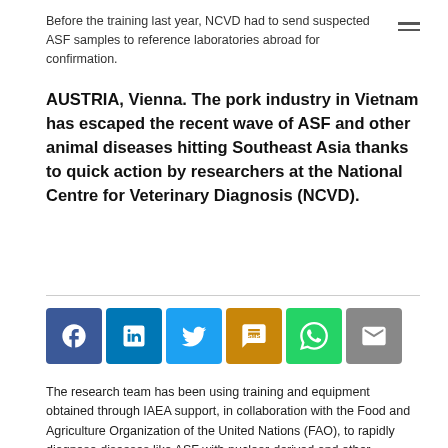Before the training last year, NCVD had to send suspected ASF samples to reference laboratories abroad for confirmation.
AUSTRIA, Vienna. The pork industry in Vietnam has escaped the recent wave of ASF and other animal diseases hitting Southeast Asia thanks to quick action by researchers at the National Centre for Veterinary Diagnosis (NCVD).
[Figure (other): Social media sharing buttons: Facebook, LinkedIn, Twitter, SMS, WhatsApp, Email]
The research team has been using training and equipment obtained through IAEA support, in collaboration with the Food and Agriculture Organization of the United Nations (FAO), to rapidly diagnose diseases like ASF with nuclear-derived and other techniques, controlling their spread and protecting the country's livestock industry and food security.
China, which shares a border with Vietnam, reported the first case of